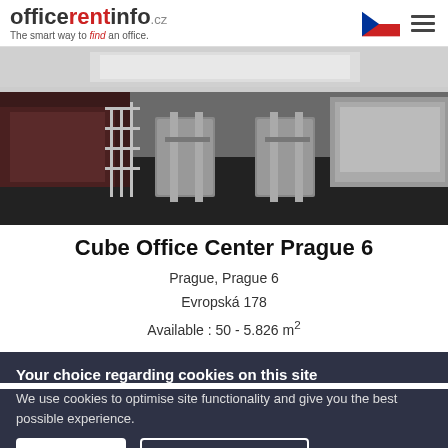officerentinfo.cz — The smart way to find an office.
[Figure (photo): Interior lobby photo of Cube Office Center Prague 6 showing turnstiles, metal railings, and dark wood reception desk]
Cube Office Center Prague 6
Prague, Prague 6
Evropská 178
Available : 50 - 5.826 m²
Your choice regarding cookies on this site
We use cookies to optimise site functionality and give you the best possible experience.
Accept   Cookie Preferences